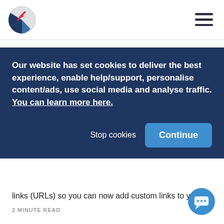[Figure (logo): Company logo: circular badge with dark blue lower-left quadrant and grey upper-right, red arrow/lightning bolt accent, white border]
[Figure (other): Hamburger menu icon (three horizontal dark lines)]
Our website has set cookies to deliver the best experience, enable help/support, personalise content/ads, use social media and analyse traffic.
You can learn more here.
Stop cookies
Continue
links (URLs) so you can now add custom links to your...
2 MINUTE READ
[Figure (other): Blue circular chat/support bubble icon in bottom-right corner]